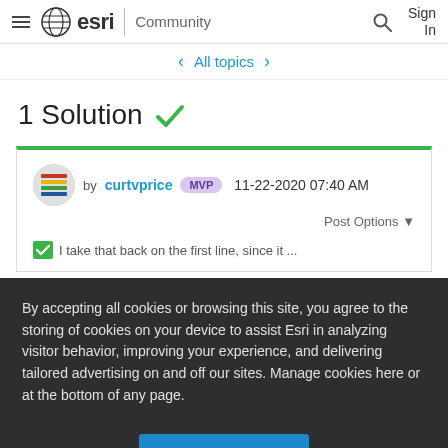esri Community — navigation bar with hamburger menu, Esri logo, Community label, search icon, Sign In
All topics
1 Solution ✓
by curtvprice MVP  11-22-2020 07:40 AM  Post Options ▼
By accepting all cookies or browsing this site, you agree to the storing of cookies on your device to assist Esri in analyzing visitor behavior, improving your experience, and delivering tailored advertising on and off our sites. Manage cookies here or at the bottom of any page.